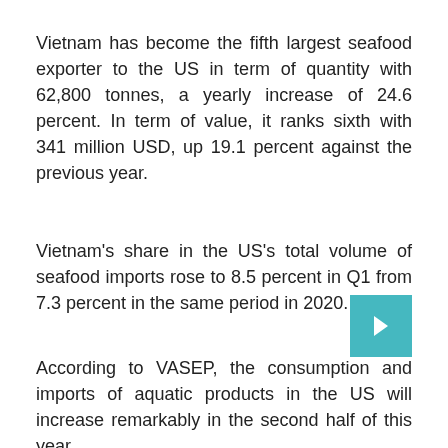Vietnam has become the fifth largest seafood exporter to the US in term of quantity with 62,800 tonnes, a yearly increase of 24.6 percent. In term of value, it ranks sixth with 341 million USD, up 19.1 percent against the previous year.
Vietnam's share in the US's total volume of seafood imports rose to 8.5 percent in Q1 from 7.3 percent in the same period in 2020.
According to VASEP, the consumption and imports of aquatic products in the US will increase remarkably in the second half of this year.